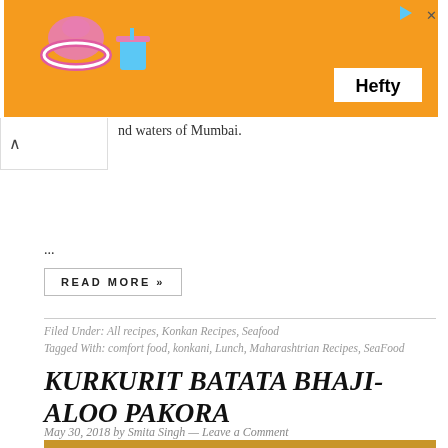[Figure (illustration): Orange advertisement banner for Hefty brand with flamingo pool float and cup decorations. White Hefty logo on right side. Blue play triangle and X close button at top right.]
nd waters of Mumbai.
...
READ MORE »
Filed Under: All recipes, Konkan Recipes, Seafood
Tagged With: comfort food, konkani, Lunch, Maharashtrian Recipes, SeaFood
KURKURIT BATATA BHAJI-ALOO PAKORA
May 30, 2018 by Smita Singh  —  Leave a Comment
[Figure (photo): Partial food photograph showing text BATATA at bottom left on an orange background, with food items visible.]